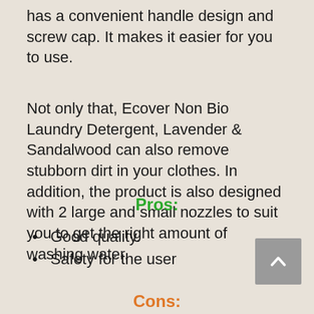has a convenient handle design and screw cap. It makes it easier for you to use.
Not only that, Ecover Non Bio Laundry Detergent, Lavender & Sandalwood can also remove stubborn dirt in your clothes. In addition, the product is also designed with 2 large and small nozzles to suit you to get the right amount of washing water.
Pros:
Good quality.
Safety for the user
Cons: